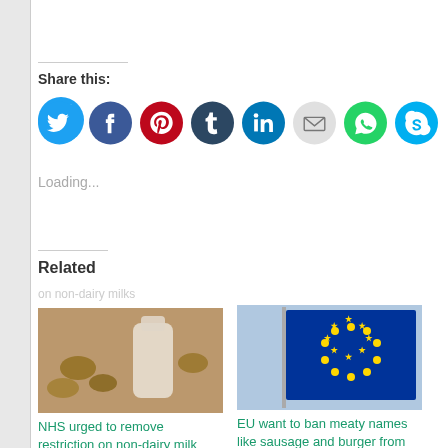Share this:
[Figure (infographic): Row of social media share buttons: Twitter (blue), Facebook (blue), Pinterest (red), Tumblr (dark blue), LinkedIn (teal), Email (grey), WhatsApp (green), Skype (cyan)]
Loading...
Related
[Figure (photo): Partially visible text 'on non-dairy milks' above a photo of a glass milk bottle with nuts/almonds in the background]
NHS urged to remove restriction on non-dairy milk
[Figure (photo): Photo of European Union flag (blue with gold stars) on a pole against a light blue sky]
EU want to ban meaty names like sausage and burger from food